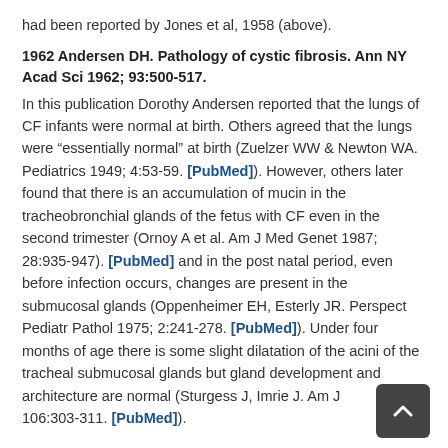had been reported by Jones et al, 1958 (above).
1962 Andersen DH. Pathology of cystic fibrosis. Ann NY Acad Sci 1962; 93:500-517.
In this publication Dorothy Andersen reported that the lungs of CF infants were normal at birth. Others agreed that the lungs were “essentially normal” at birth (Zuelzer WW & Newton WA. Pediatrics 1949; 4:53-59. [PubMed]). However, others later found that there is an accumulation of mucin in the tracheobronchial glands of the fetus with CF even in the second trimester (Ornoy A et al. Am J Med Genet 1987; 28:935-947). [PubMed] and in the post natal period, even before infection occurs, changes are present in the submucosal glands (Oppenheimer EH, Esterly JR. Perspect Pediatr Pathol 1975; 2:241-278. [PubMed]). Under four months of age there is some slight dilatation of the acini of the tracheal submucosal glands but gland development and architecture are normal (Sturgess J, Imrie J. Am J... 1982; 106:303-311. [PubMed]).